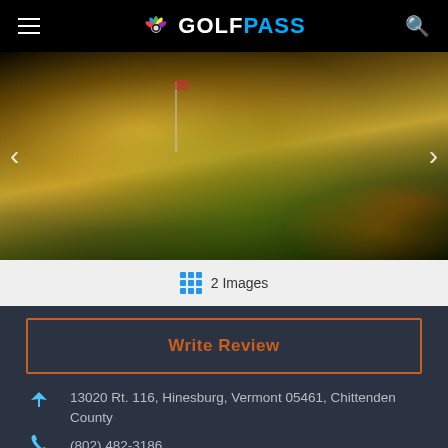GolfPass
[Figure (photo): Golf course at sunset with golden light illuminating green fairway, golf flag visible, navigation arrows on left and right sides]
2 Images
Write Review
13020 Rt. 116, Hinesburg, Vermont 05461, Chittenden County
(802) 482-3186
Course Website